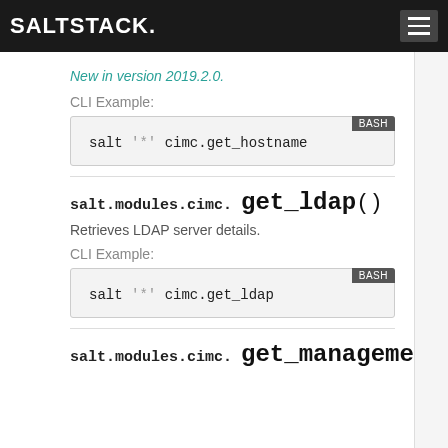SALTSTACK
New in version 2019.2.0.
CLI Example:
salt '*' cimc.get_hostname
salt.modules.cimc. get_ldap ()
Retrieves LDAP server details.
CLI Example:
salt '*' cimc.get_ldap
salt.modules.cimc. get_management_inte